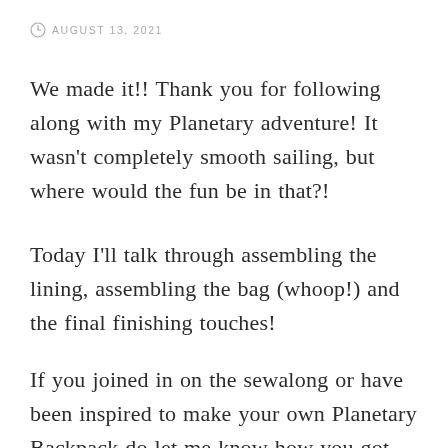AUGUST 13, 2021
We made it!! Thank you for following along with my Planetary adventure! It wasn't completely smooth sailing, but where would the fun be in that?!
Today I'll talk through assembling the lining, assembling the bag (whoop!) and the final finishing touches!
If you joined in on the sewalong or have been inspired to make your own Planetary Backpack do let me know how you got on!! Come join us